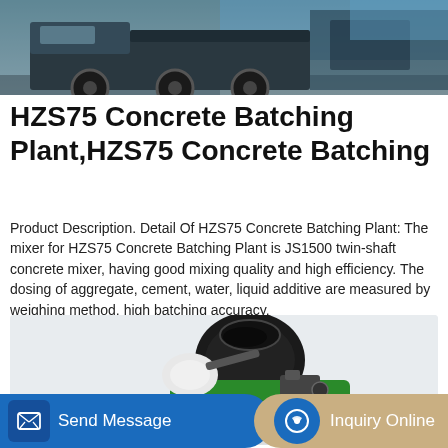[Figure (photo): Top portion showing industrial machinery/concrete batching plant equipment with truck and wheels visible against a blue-grey background]
HZS75 Concrete Batching Plant,HZS75 Concrete Batching
Product Description. Detail Of HZS75 Concrete Batching Plant: The mixer for HZS75 Concrete Batching Plant is JS1500 twin-shaft concrete mixer, having good mixing quality and high efficiency. The dosing of aggregate, cement, water, liquid additive are measured by weighing method, high batching accuracy.
[Figure (photo): Photo of a green and black concrete mixer truck on a light grey background]
Learn More
Send Message | Inquiry Online